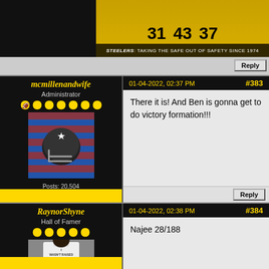[Figure (screenshot): Top banner with Steelers players wearing numbers 31, 43, 37 on gold background with text 'Steelers: TAKING THE SAFE out of SAFETY since 1974']
Reply
mcmillenandwife
Administrator
[Figure (photo): Avatar of a football player in Steelers helmet with American flag background]
Posts: 20,504
Joined: Jan 1970
01-04-2022, 02:37 PM
#383
There it is! And Ben is gonna get to do victory formation!!!
Reply
RaynorShyne
Hall of Famer
[Figure (photo): Avatar of a person in white t-shirt that reads 'I WASN'T RAISED FOR MY DISPOSITION']
01-04-2022, 02:38 PM
#384
Najee 28/188